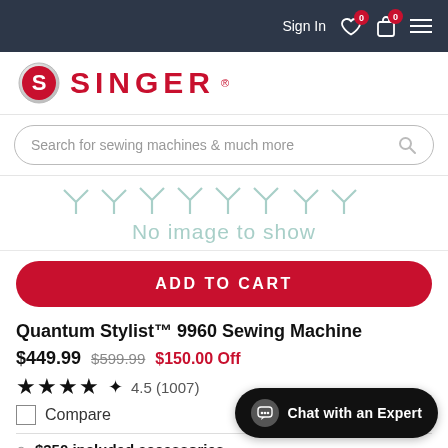Sign In  0  0
[Figure (logo): Singer brand logo with red circle S emblem and SINGER text in red]
Search for sewing machines & much more
[Figure (illustration): No image to show placeholder with decorative teal stitch pattern icons]
ADD TO CART
Quantum Stylist™ 9960 Sewing Machine
$449.99  $599.99  $150.00 Off
★★★★½  4.5 (1007)
Compare
$350 included accessories
1,172 stitch applications & letters